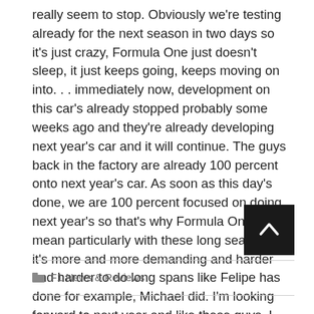really seem to stop. Obviously we're testing already for the next season in two days so it's just crazy, Formula One just doesn't sleep, it just keeps going, keeps moving on into. . . immediately now, development on this car's already stopped probably some weeks ago and they're already developing next year's car and it will continue. The guys back in the factory are already 100 percent onto next year's car. As soon as this day's done, we are 100 percent focused on doing next year's so that's why Formula One. . . I mean particularly with these long seasons, it's more and more demanding and harder and harder to do long spans like Felipe has done for example, Michael did. I'm looking forward to next year and like these guys, I know they're going to be working to be fit and ready so I'll be doing the same.
[Figure (other): Back to top arrow button — dark square button with upward chevron arrow in white]
F1 News & Reviews